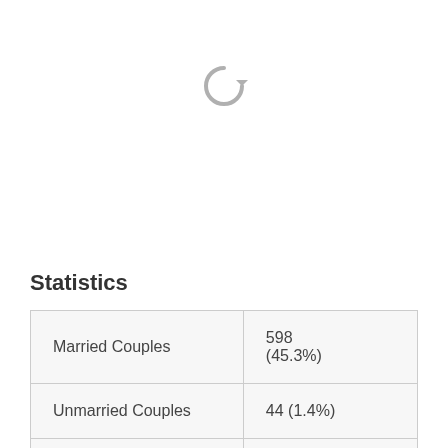[Figure (other): Loading spinner icon (circular arrow)]
Statistics
| Married Couples | 598 (45.3%) |
| Unmarried Couples | 44 (1.4%) |
| Never Married Men | 448 (34.9%) |